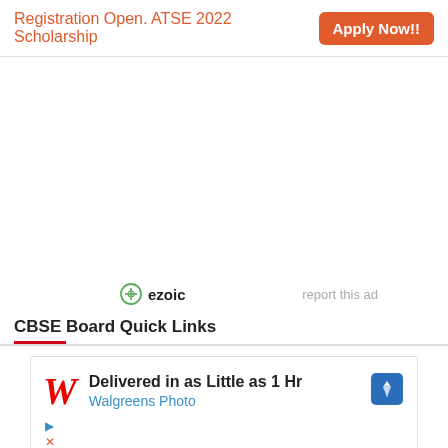Registration Open. ATSE 2022 Scholarship  Apply Now!!
[Figure (other): Empty white ad/content area]
ezoic  report this ad
CBSE Board Quick Links
[Figure (other): Advertisement: Delivered in as Little as 1 Hr - Walgreens Photo]